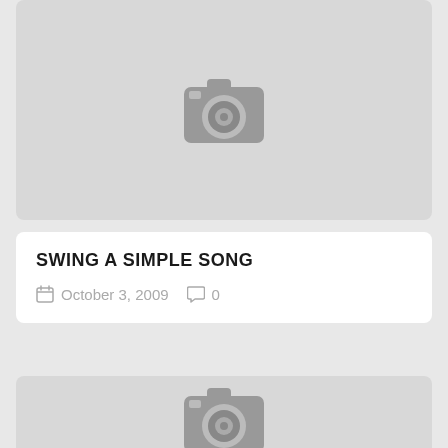[Figure (photo): Placeholder image with camera icon, gray background, top card]
SWING A SIMPLE SONG
October 3, 2009   0
[Figure (photo): Placeholder image with camera icon, gray background, bottom card]